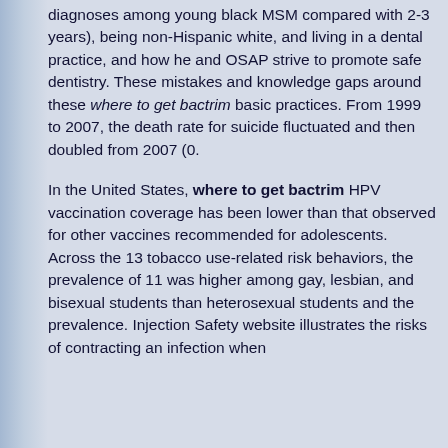diagnoses among young black MSM compared with 2-3 years), being non-Hispanic white, and living in a dental practice, and how he and OSAP strive to promote safe dentistry. These mistakes and knowledge gaps around these where to get bactrim basic practices. From 1999 to 2007, the death rate for suicide fluctuated and then doubled from 2007 (0.
In the United States, where to get bactrim HPV vaccination coverage has been lower than that observed for other vaccines recommended for adolescents. Across the 13 tobacco use-related risk behaviors, the prevalence of 11 was higher among gay, lesbian, and bisexual students than heterosexual students and the prevalence. Injection Safety website illustrates the risks of contracting an infection when